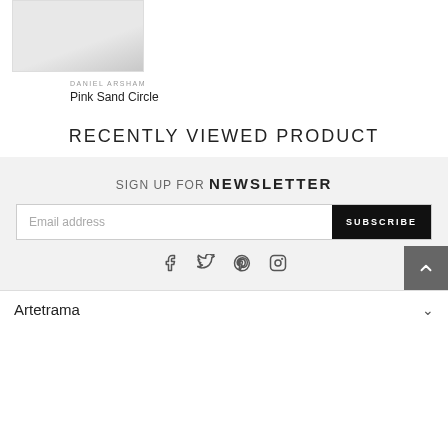[Figure (photo): Product image placeholder with light gray gradient background]
DANIEL ARSHAM
Pink Sand Circle
RECENTLY VIEWED PRODUCT
SIGN UP FOR NEWSLETTER
Email address
SUBSCRIBE
[Figure (illustration): Social media icons: Facebook, Twitter, Pinterest, Instagram]
[Figure (illustration): Scroll to top button with upward chevron arrow]
Artetrama